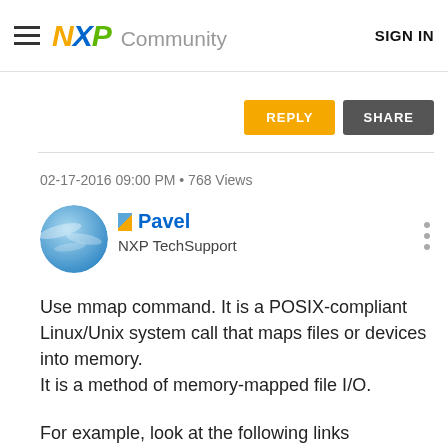NXP Community  SIGN IN
[Figure (screenshot): REPLY and SHARE buttons]
02-17-2016 09:00 PM • 768 Views
[Figure (photo): User avatar - blue sky circular profile photo with NXP TechSupport badge icon for user Pavel]
Pavel
NXP TechSupport
Use mmap command. It is a POSIX-compliant Linux/Unix system call that maps files or devices into memory.
It is a method of memory-mapped file I/O.
For example, look at the following links (http://en.wikipedia.org/wiki/Mmap) and